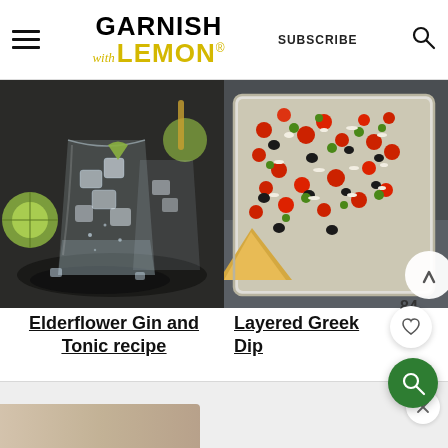GARNISH with LEMON® — SUBSCRIBE
[Figure (photo): Two glasses of Elderflower Gin and Tonic with ice and lime slices on a dark plate, dark moody background]
[Figure (photo): Layered Greek Dip in a rectangular dish with tomatoes, olives, green onions, and feta cheese, with pita chips on the side]
Elderflower Gin and Tonic recipe
Layered Greek Dip